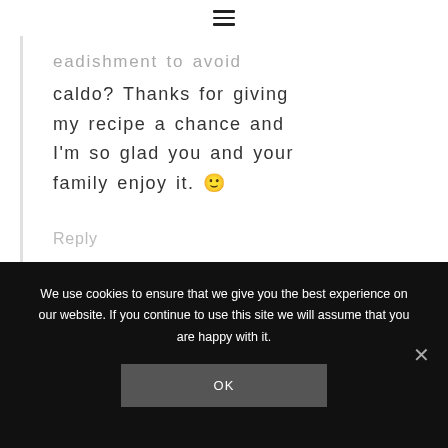≡
…eadishment to avoid caldo? Thanks for giving my recipe a chance and I'm so glad you and your family enjoy it. 🙂
Reply
We use cookies to ensure that we give you the best experience on our website. If you continue to use this site we will assume that you are happy with it.
OK